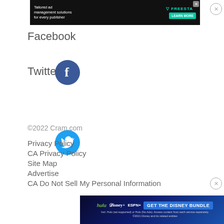[Figure (other): Dark advertisement banner: Tailored ad management solutions for every publisher. Freestar logo and LEARN MORE button.]
Facebook
Twitter
©2022 Cram.com
Privacy Policy
CA Privacy Policy
Site Map
Advertise
CA Do Not Sell My Personal Information
[Figure (other): Disney Bundle advertisement banner with Hulu, Disney+, ESPN+ logos and GET THE DISNEY BUNDLE button.]